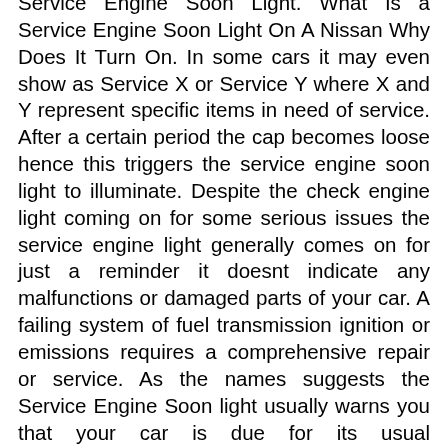Service Engine Soon Light. What Is a Service Engine Soon Light On A Nissan Why Does It Turn On. In some cars it may even show as Service X or Service Y where X and Y represent specific items in need of service. After a certain period the cap becomes loose hence this triggers the service engine soon light to illuminate. Despite the check engine light coming on for some serious issues the service engine light generally comes on for just a reminder it doesnt indicate any malfunctions or damaged parts of your car. A failing system of fuel transmission ignition or emissions requires a comprehensive repair or service. As the names suggests the Service Engine Soon light usually warns you that your car is due for its usual maintenance. The service engine light comes on in your vehicle because the computer has diagnosed that something isnt quite right. There could be an engine repair or transmission replacement when the